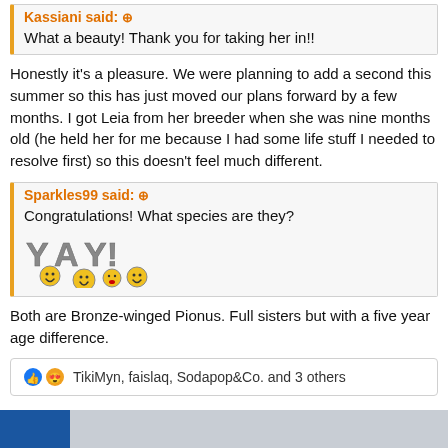Kassiani said: ⊕
What a beauty! Thank you for taking her in!!
Honestly it's a pleasure. We were planning to add a second this summer so this has just moved our plans forward by a few months. I got Leia from her breeder when she was nine months old (he held her for me because I had some life stuff I needed to resolve first) so this doesn't feel much different.
Sparkles99 said: ⊕
Congratulations! What species are they?
[Figure (illustration): YAY! text with cartoon smiley face characters]
Both are Bronze-winged Pionus. Full sisters but with a five year age difference.
TikiMyn, faislaq, Sodapop&Co. and 3 others